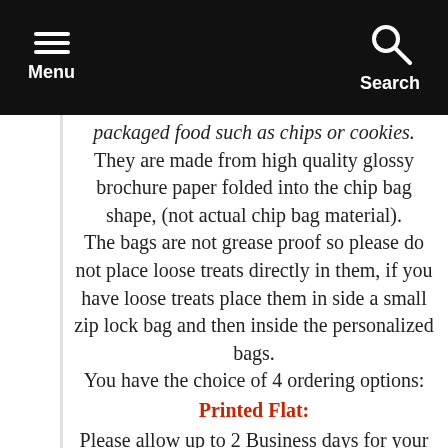Menu   Search
packaged food such as chips or cookies. They are made from high quality glossy brochure paper folded into the chip bag shape, (not actual chip bag material). The bags are not grease proof so please do not place loose treats directly in them, if you have loose treats place them in side a small zip lock bag and then inside the personalized bags. You have the choice of 4 ordering options:
Printed Flat:
Please allow up to 2 Business days for your order to be processed and shipped. Proof will be sent for approval within 24-48